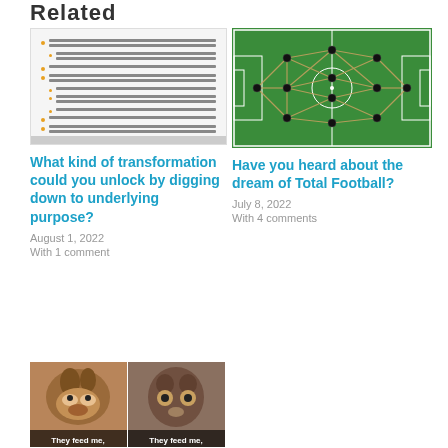Related
[Figure (screenshot): Thumbnail of a document with bullet points and orange markers]
[Figure (photo): Football/soccer pitch diagram with players connected by lines on green field]
What kind of transformation could you unlock by digging down to underlying purpose?
August 1, 2022
With 1 comment
Have you heard about the dream of Total Football?
July 8, 2022
With 4 comments
[Figure (photo): Side-by-side meme image of a dog and a cat with text 'They feed me,' at the bottom of each panel]